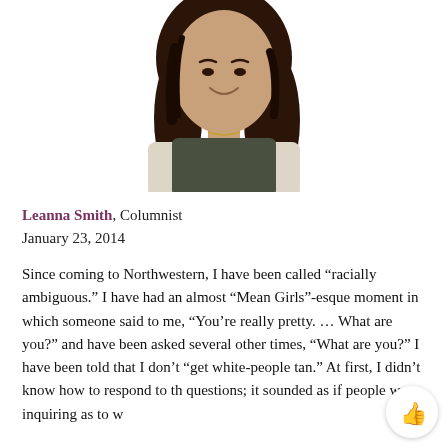[Figure (photo): Headshot photo of a young woman with long dark curly hair, wearing a dark vest over a light long-sleeve shirt, with a gold necklace, smiling at camera against a white background.]
Leanna Smith, Columnist
January 23, 2014
Since coming to Northwestern, I have been called “racially ambiguous.” I have had an almost “Mean Girls”-esque moment in which someone said to me, “You’re really pretty. … What are you?” and have been asked several other times, “What are you?” I have been told that I don’t “get white-people tan.” At first, I didn’t know how to respond to th questions; it sounded as if people were inquiring as to w